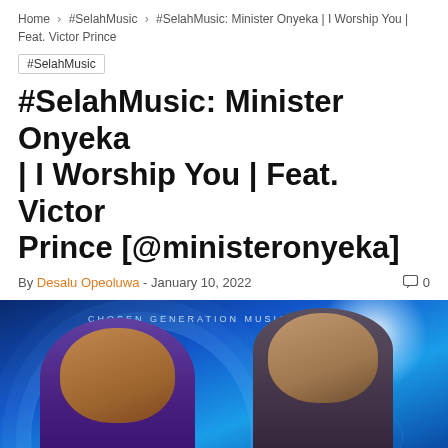Home > #SelahMusic > #SelahMusic: Minister Onyeka | I Worship You | Feat. Victor Prince
#SelahMusic
#SelahMusic: Minister Onyeka | I Worship You | Feat. Victor Prince [@ministeronyeka]
By Desalu Opeoluwa - January 10, 2022   0
[Figure (photo): Album art showing two men in prayer pose against a blue glowing background with text CHOSEN GENERATION MUSIC RECORDS]